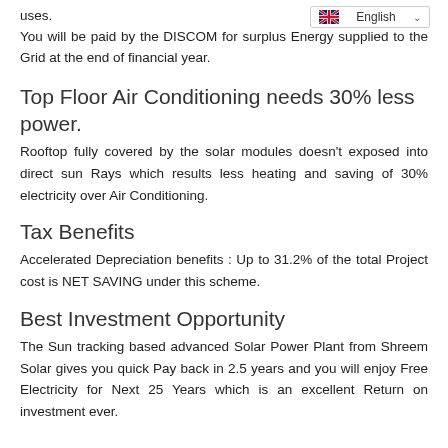uses.
You will be paid by the DISCOM for surplus Energy supplied to the Grid at the end of financial year.
Top Floor Air Conditioning needs 30% less power.
Rooftop fully covered by the solar modules doesn't exposed into direct sun Rays which results less heating and saving of 30% electricity over Air Conditioning.
Tax Benefits
Accelerated Depreciation benefits : Up to 31.2% of the total Project cost is NET SAVING under this scheme.
Best Investment Opportunity
The Sun tracking based advanced Solar Power Plant from Shreem Solar gives you quick Pay back in 2.5 years and you will enjoy Free Electricity for Next 25 Years which is an excellent Return on investment ever.